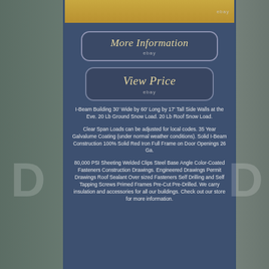[Figure (photo): Top partial image showing a building with yellow/gold siding and an eBay watermark label]
[Figure (screenshot): More Information button with italic gold text and eBay label, rounded rectangle on dark blue background]
[Figure (screenshot): View Price button with italic gold text and eBay label, rounded rectangle on dark blue background]
I-Beam Building 30' Wide by 60' Long by 17' Tall Side Walls at the Eve. 20 Lb Ground Snow Load. 20 Lb Roof Snow Load.
Clear Span Loads can be adjusted for local codes. 35 Year Galvalume Coating (under normal weather conditions). Solid I-Beam Construction 100% Solid Red Iron Full Frame on Door Openings 26 Ga.
80,000 PSI Sheeting Welded Clips Steel Base Angle Color-Coated Fasteners Construction Drawings. Engineered Drawings Permit Drawings Roof Sealant Over sized Fasteners Self Drilling and Self Tapping Screws Primed Frames Pre-Cut Pre-Drilled. We carry insulation and accessories for all our buildings. Check out our store for more information.